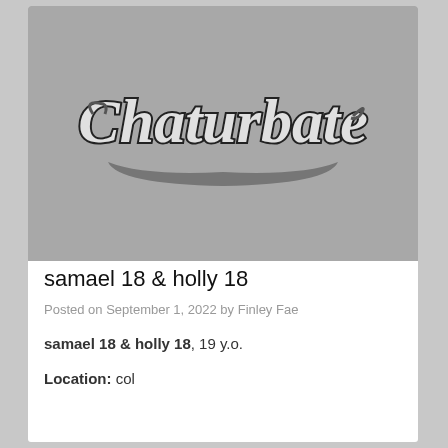[Figure (logo): Chaturbate logo in script lettering on a gray background]
samael 18 & holly 18
Posted on September 1, 2022 by Finley Fae
samael 18 & holly 18, 19 y.o.
Location: col